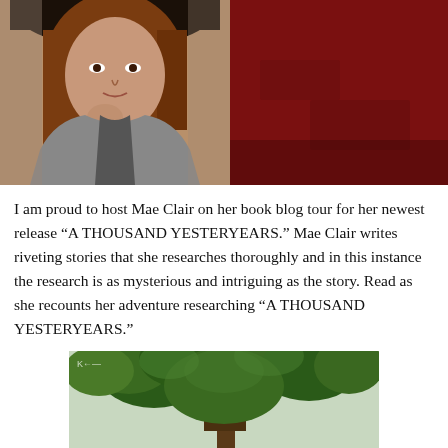[Figure (photo): Author photo: woman with reddish-brown hair, wearing a dark hat and grey jacket, posing with hand near chin]
[Figure (photo): Book cover: 'A THOUSAND YESTERYEARS' - Point Pleasant Series by Mae Clair, dark red/crimson background with white text]
I am proud to host Mae Clair on her book blog tour for her newest release “A THOUSAND YESTERYEARS.” Mae Clair writes riveting stories that she researches thoroughly and in this instance the research is as mysterious and intriguing as the story. Read as she recounts her adventure researching “A THOUSAND YESTERYEARS.”
[Figure (photo): Outdoor photo of large green trees with dense foliage]